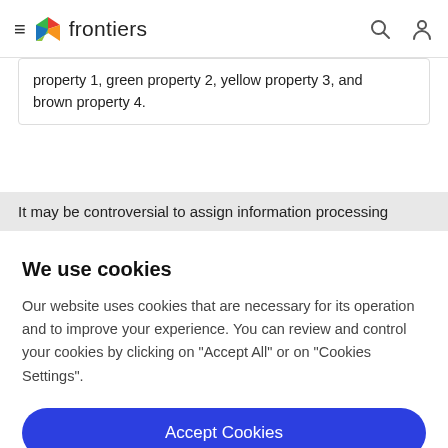frontiers
property 1, green property 2, yellow property 3, and brown property 4.
It may be controversial to assign information processing
We use cookies
Our website uses cookies that are necessary for its operation and to improve your experience. You can review and control your cookies by clicking on "Accept All" or on "Cookies Settings".
Accept Cookies
Cookies Settings